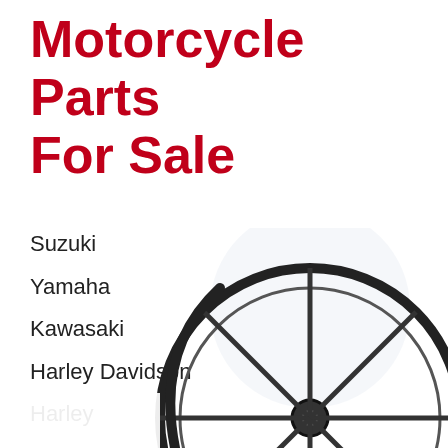Motorcycle Parts For Sale
Suzuki
Yamaha
Kawasaki
Harley Davidson
Harley
Vintage
[Figure (illustration): A motorcycle wheel/rim illustration shown partially cropped at the bottom of the page, with spokes radiating from center hub, black and chrome coloring, with a partial fender visible.]